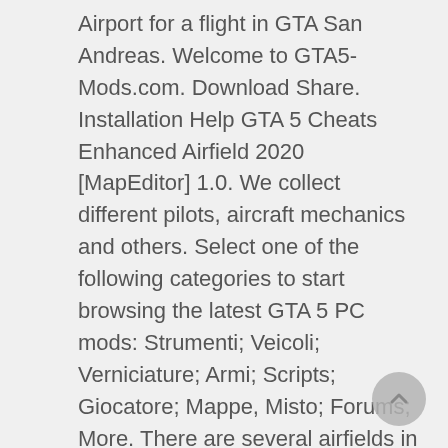Airport for a flight in GTA San Andreas. Welcome to GTA5-Mods.com. Download Share. Installation Help GTA 5 Cheats Enhanced Airfield 2020 [MapEditor] 1.0. We collect different pilots, aircraft mechanics and others. Select one of the following categories to start browsing the latest GTA 5 PC mods: Strumenti; Veicoli; Verniciature; Armi; Scripts; Giocatore; Mappe, Misto; Forums; More. There are several airfields in Grand Theft Auto 5, with planes ripe for the taking. ZNENOM. All Versions. INSTALL: Place the .xml file in Grand Theft Auto V\menyooStuff\Spooner INGAME SPAWN open menyoo menu go to object spooner,manage saved files,select Mount Chiliad Airfield 1.0,and click on load placement . I got an idea. All Versions. This is most probably a glitch. Take a car to the airport and go to the end of the runway by the docks and on wheat fields to find Grappling hooks. ... After our hero has to drive to different airfields and collect different people